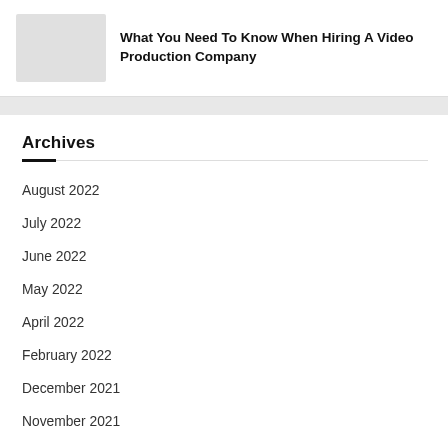[Figure (photo): Thumbnail placeholder image (light grey rectangle)]
What You Need To Know When Hiring A Video Production Company
Archives
August 2022
July 2022
June 2022
May 2022
April 2022
February 2022
December 2021
November 2021
October 2021